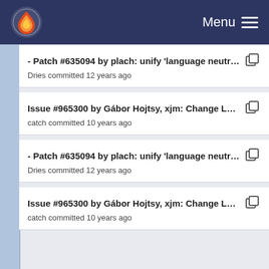Menu
- Patch #635094 by plach: unify 'language neutral' ...
Dries committed 12 years ago
Issue #965300 by Gábor Hojtsy, xjm: Change LAN...
catch committed 10 years ago
- Patch #635094 by plach: unify 'language neutral' ...
Dries committed 12 years ago
Issue #965300 by Gábor Hojtsy, xjm: Change LAN...
catch committed 10 years ago